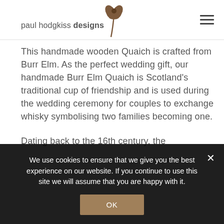paul hodgkiss designs
This handmade wooden Quaich is crafted from Burr Elm. As the perfect wedding gift, our handmade Burr Elm Quaich is Scotland's traditional cup of friendship and is used during the wedding ceremony for couples to exchange whisky symbolising two families becoming one.
Dating back to the 16th century, the
We use cookies to ensure that we give you the best experience on our website. If you continue to use this site we will assume that you are happy with it.